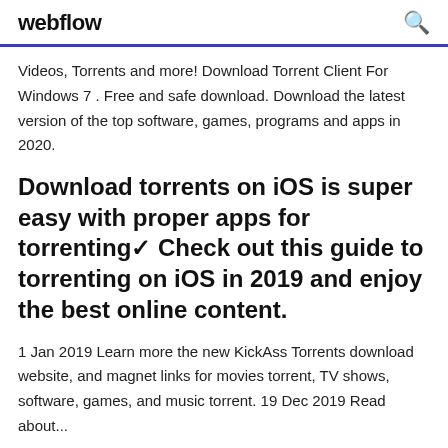webflow
Videos, Torrents and more! Download Torrent Client For Windows 7 . Free and safe download. Download the latest version of the top software, games, programs and apps in 2020.
Download torrents on iOS is super easy with proper apps for torrenting✓ Check out this guide to torrenting on iOS in 2019 and enjoy the best online content.
1 Jan 2019 Learn more the new KickAss Torrents download website, and magnet links for movies torrent, TV shows, software, games, and music torrent. 19 Dec 2019 Read about...